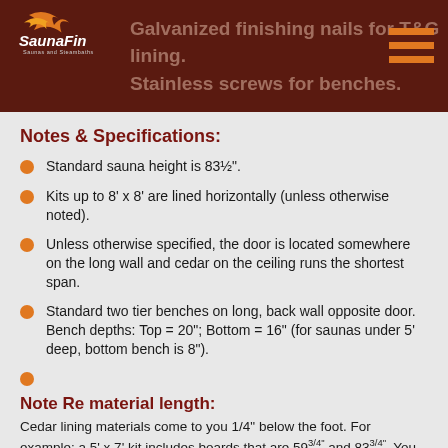Galvanized finishing nails for T&G lining. Stainless screws for benches.
Notes & Specifications:
Standard sauna height is 83½".
Kits up to 8' x 8' are lined horizontally (unless otherwise noted).
Unless otherwise specified, the door is located somewhere on the long wall and cedar on the ceiling runs the shortest span.
Standard two tier benches on long, back wall opposite door. Bench depths: Top = 20"; Bottom = 16" (for saunas under 5' deep, bottom bench is 8").
Note Re material length:
Cedar lining materials come to you 1/4" below the foot. For example: a 5' x 7' kit includes boards that are 59 3/4" and 83 3/4". You can "stretch" your framing 1", so 61" x 85" is OK. But any longer means you will be short. You either